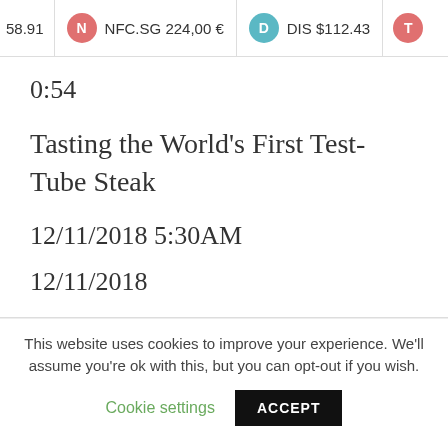58.91  N NFC.SG 224,00 €  D DIS $112.43  T
0:54
Tasting the World's First Test-Tube Steak
12/11/2018 5:30AM
12/11/2018
This website uses cookies to improve your experience. We'll assume you're ok with this, but you can opt-out if you wish.
Cookie settings
ACCEPT